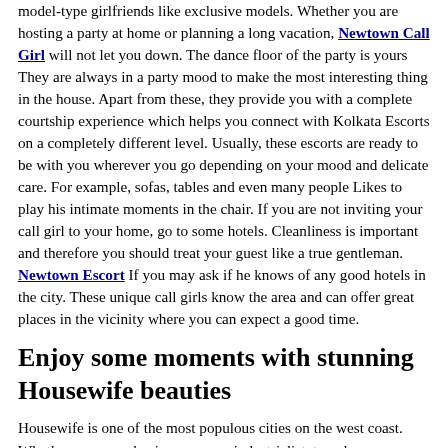model-type girlfriends like exclusive models. Whether you are hosting a party at home or planning a long vacation, Newtown Call Girl will not let you down. The dance floor of the party is yours They are always in a party mood to make the most interesting thing in the house. Apart from these, they provide you with a complete courtship experience which helps you connect with Kolkata Escorts on a completely different level. Usually, these escorts are ready to be with you wherever you go depending on your mood and delicate care. For example, sofas, tables and even many people Likes to play his intimate moments in the chair. If you are not inviting your call girl to your home, go to some hotels. Cleanliness is important and therefore you should treat your guest like a true gentleman. Newtown Escort If you may ask if he knows of any good hotels in the city. These unique call girls know the area and can offer great places in the vicinity where you can expect a good time.
Enjoy some moments with stunning Housewife beauties
Housewife is one of the most populous cities on the west coast. Whether you are a business owner, industrialist, traveler or a struggling actor and actress, this city is ready to welcome you anytime. Housewife is a place of rich people. Kolkata Housewife